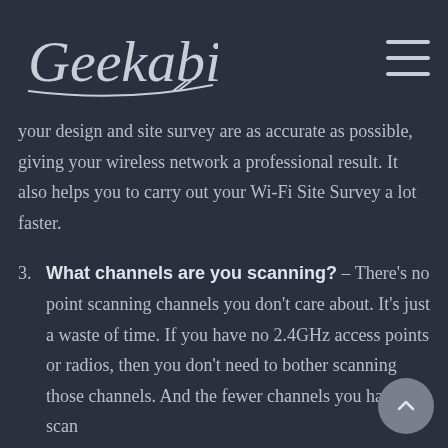Geekabit
your design and site survey are as accurate as possible, giving your wireless network a professional result. It also helps you to carry out your Wi-Fi Site Survey a lot faster.
3. What channels are you scanning? – There's no point scanning channels you don't care about. It's just a waste of time. If you have no 2.4GHz access points or radios, then you don't need to bother scanning those channels. And the fewer channels you have to scan